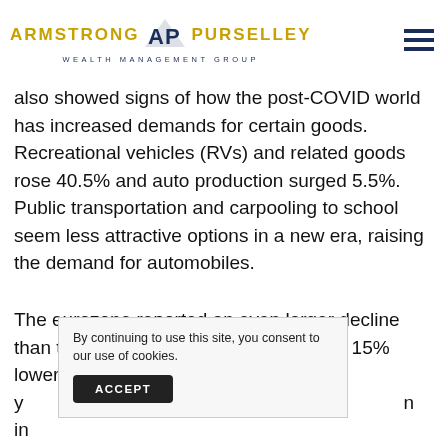ARMSTRONG AP PURSELLEY WEALTH MANAGEMENT GROUP
also showed signs of how the post-COVID world has increased demands for certain goods. Recreational vehicles (RVs) and related goods rose 40.5% and auto production surged 5.5%. Public transportation and carpooling to school seem less attractive options in a new era, raising the demand for automobiles.
The eurozone reported an even larger decline than the U.S. Second-quarter GDP was 15% lower than one y... e... in...
By continuing to use this site, you consent to our use of cookies.